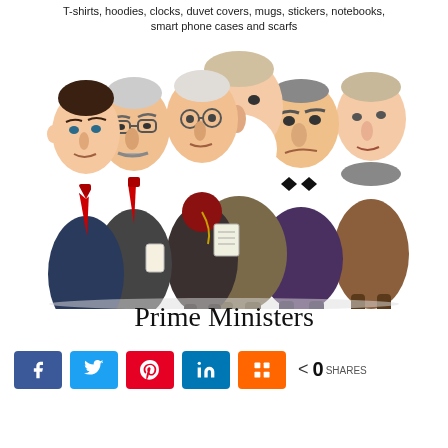T-shirts, hoodies, clocks, duvet covers, mugs, stickers, notebooks, smart phone cases and scarfs
[Figure (illustration): Caricature illustration of six Prime Ministers standing together in a group, labeled 'Prime Ministers' below]
Prime Ministers
Social share buttons: Facebook, Twitter, Pinterest, LinkedIn, Mix. 0 SHARES